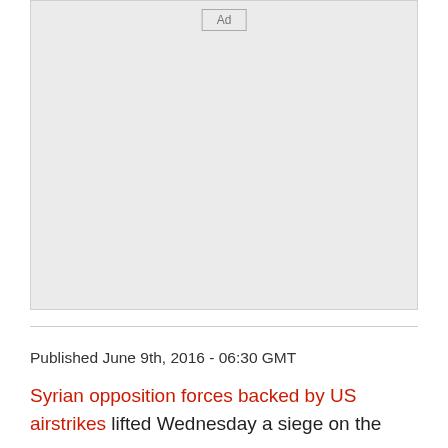[Figure (other): Advertisement placeholder box with 'Ad' label in top center]
Published June 9th, 2016 - 06:30 GMT
Syrian opposition forces backed by US airstrikes lifted Wednesday a siege on the former strongman of Mezzeh, the northern...